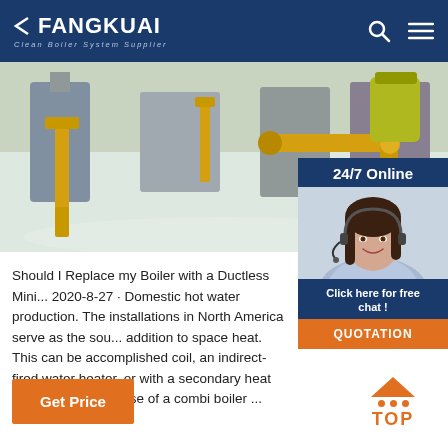FANGKUAI Clean Boiler System Supplier
[Figure (photo): Industrial boiler room with yellow pipes and metal equipment on polished floor]
[Figure (photo): Customer service representative with headset, 24/7 Online chat panel with QUOTATION button]
Should I Replace my Boiler with a Ductless Mini ... 2020-8-27 · Domestic hot water production. The installations in North America serve as the sou... addition to space heat. This can be accomplished coil, an indirect-fired water heater, or with a secondary heat exchanger in the case of a combi boiler ...
Get Price
TOP